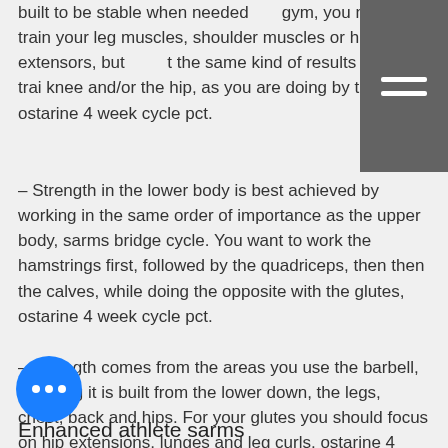built to be stable when needed gym, you might train your leg muscles, shoulder muscles or hip extensors, but not get the same kind of results when training the knee and/or the hip, as you are doing by the spine, ostarine 4 week cycle pct.
– Strength in the lower body is best achieved by working in the same order of importance as the upper body, sarms bridge cycle. You want to work the hamstrings first, followed by the quadriceps, then then the calves, while doing the opposite with the glutes, ostarine 4 week cycle pct.
– Strength comes from the areas you use the barbell, meaning it is built from the lower down, the legs, chest, back and hips. For your glutes you should focus on hip extensions, lunges and leg curls, ostarine 4 week cycle pct.
Enhanced athlete sarms